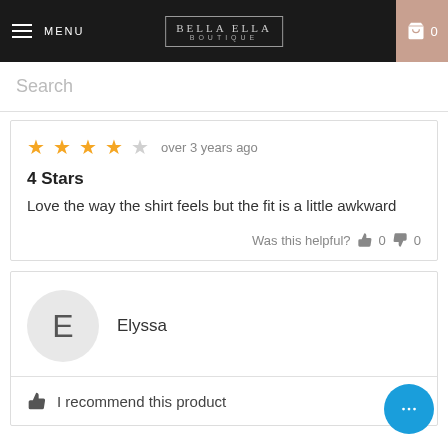MENU | BELLA ELLA BOUTIQUE | Search | Cart 0
Search
★★★★☆ over 3 years ago
4 Stars
Love the way the shirt feels but the fit is a little awkward
Was this helpful? 👍 0 👎 0
Elyssa
I recommend this product